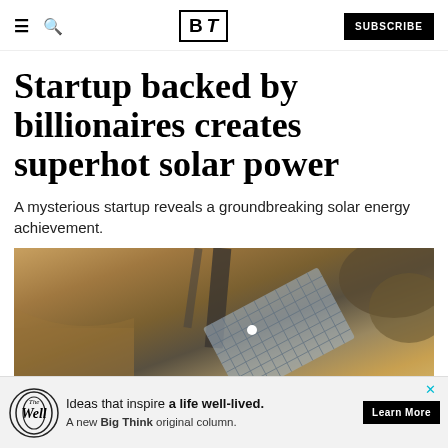BT — Big Think — SUBSCRIBE
Startup backed by billionaires creates superhot solar power
A mysterious startup reveals a groundbreaking solar energy achievement.
[Figure (photo): Aerial view of a solar concentrator facility in a desert landscape, with circular mirror arrays focusing sunlight to a bright central point.]
The Well — Ideas that inspire a life well-lived. A new Big Think original column. Learn More